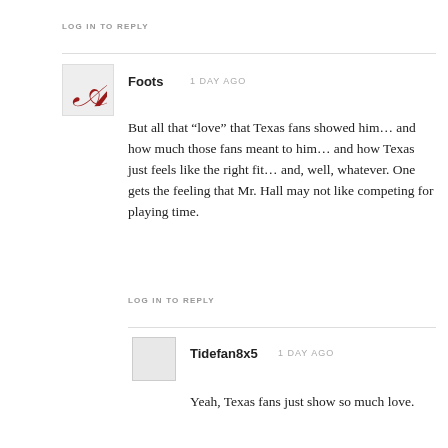LOG IN TO REPLY
Foots   1 DAY AGO
But all that “love” that Texas fans showed him… and how much those fans meant to him… and how Texas just feels like the right fit… and, well, whatever. One gets the feeling that Mr. Hall may not like competing for playing time.
LOG IN TO REPLY
Tidefan8x5   1 DAY AGO
Yeah, Texas fans just show so much love.
LOG IN TO REPLY